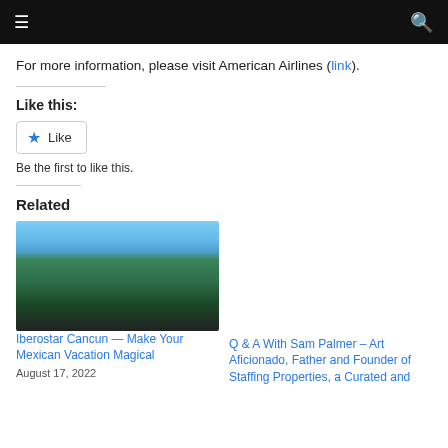≡  🔍
For more information, please visit American Airlines (link).
Like this:
★ Like
Be the first to like this.
Related
[Figure (photo): Aerial view of Iberostar Cancun resort with ocean, beach, pools and hotel buildings]
Iberostar Cancun — Make Your Mexican Vacation Magical
August 17, 2022
Q & A With Sam Palmer – Art Aficionado, Father and Founder of Staffing Properties, a Curated and